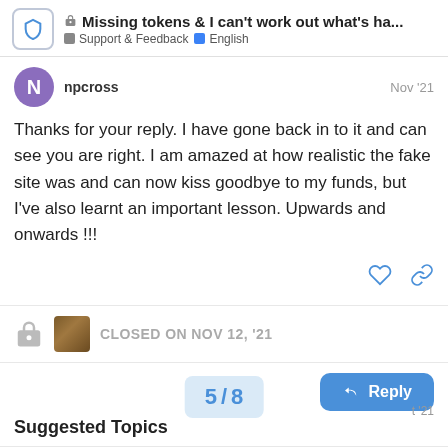Missing tokens & I can't work out what's ha... | Support & Feedback | English
npcross
Nov '21
Thanks for your reply. I have gone back in to it and can see you are right. I am amazed at how realistic the fake site was and can now kiss goodbye to my funds, but I've also learnt an important lesson. Upwards and onwards !!!
CLOSED ON NOV 12, '21
Reply
Suggested Topics
Increase gas price manually
English
1
5 / 8